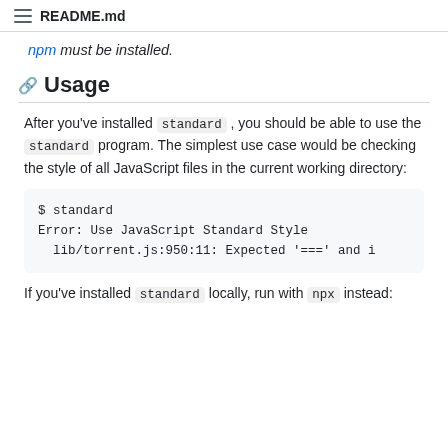README.md
npm must be installed.
Usage
After you've installed standard , you should be able to use the standard program. The simplest use case would be checking the style of all JavaScript files in the current working directory:
$ standard
Error: Use JavaScript Standard Style
  lib/torrent.js:950:11: Expected '===' and i
If you've installed standard locally, run with npx instead: